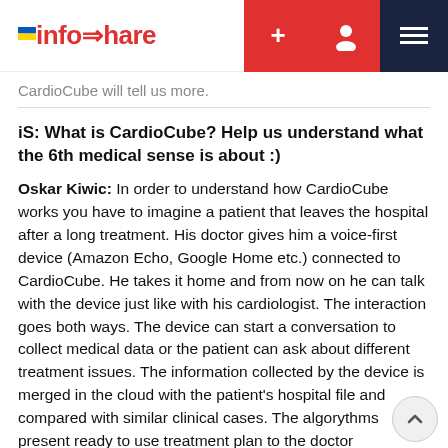infoshare [navigation buttons: +, user, menu]
CardioCube will tell us more.
iS: What is CardioCube? Help us understand what the 6th medical sense is about :)
Oskar Kiwic: In order to understand how CardioCube works you have to imagine a patient that leaves the hospital after a long treatment. His doctor gives him a voice-first device (Amazon Echo, Google Home etc.) connected to CardioCube. He takes it home and from now on he can talk with the device just like with his cardiologist. The interaction goes both ways. The device can start a conversation to collect medical data or the patient can ask about different treatment issues. The information collected by the device is merged in the cloud with the patient's hospital file and compared with similar clinical cases. The algorythms present ready to use treatment plan to the doctor